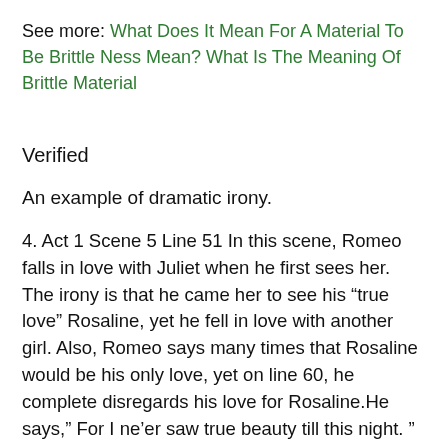See more: What Does It Mean For A Material To Be Brittle Ness Mean? What Is The Meaning Of Brittle Material
Verified
An example of dramatic irony.
4. Act 1 Scene 5 Line 51 In this scene, Romeo falls in love with Juliet when he first sees her. The irony is that he came her to see his “true love” Rosaline, yet he fell in love with another girl. Also, Romeo says many times that Rosaline would be his only love, yet on line 60, he complete disregards his love for Rosaline.He says,” For I ne’er saw true beauty till this night. ” He’s saying that he has not seen true